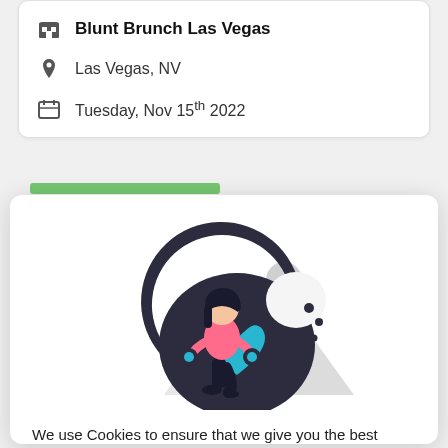Blunt Brunch Las Vegas
Las Vegas, NV
Tuesday, Nov 15th 2022
[Figure (illustration): Illustration of a woman holding cookies standing next to a large dark cookie with a blue heart, with geometric mountain shapes in the background]
We use Cookies to ensure that we give you the best experience on our website. Read our Privacy Policy.